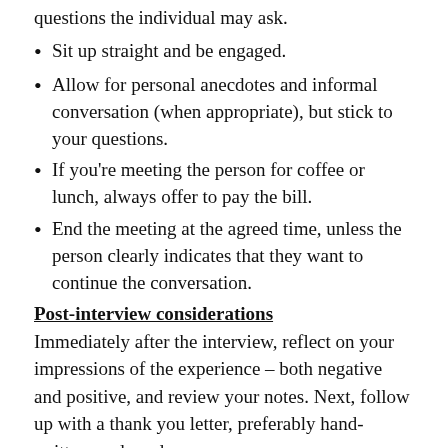Listen carefully and respond directly any responses or questions the individual may ask.
Sit up straight and be engaged.
Allow for personal anecdotes and informal conversation (when appropriate), but stick to your questions.
If you're meeting the person for coffee or lunch, always offer to pay the bill.
End the meeting at the agreed time, unless the person clearly indicates that they want to continue the conversation.
Post-interview considerations
Immediately after the interview, reflect on your impressions of the experience – both negative and positive, and review your notes. Next, follow up with a thank you letter, preferably hand-written, and send